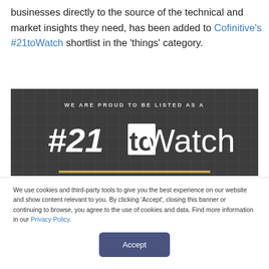businesses directly to the source of the technical and market insights they need, has been added to Cofinitive's #21toWatch shortlist in the 'things' category.
[Figure (infographic): Dark grey banner with grid texture reading 'WE ARE PROUD TO BE LISTED AS A #21toWatch' with a gold underline bar]
We use cookies and third-party tools to give you the best experience on our website and show content relevant to you. By clicking 'Accept', closing this banner or continuing to browse, you agree to the use of cookies and data. Find more information in our Privacy Policy.
Accept